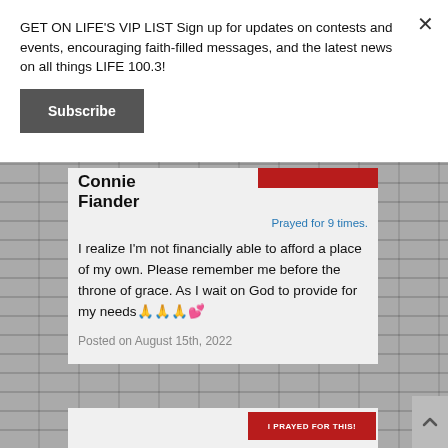GET ON LIFE'S VIP LIST Sign up for updates on contests and events, encouraging faith-filled messages, and the latest news on all things LIFE 100.3!
Subscribe
Connie Fiander
Prayed for 9 times.
I realize I'm not financially able to afford a place of my own. Please remember me before the throne of grace. As I wait on God to provide for my needs🙏🙏🙏💕
Posted on August 15th, 2022
I PRAYED FOR THIS!